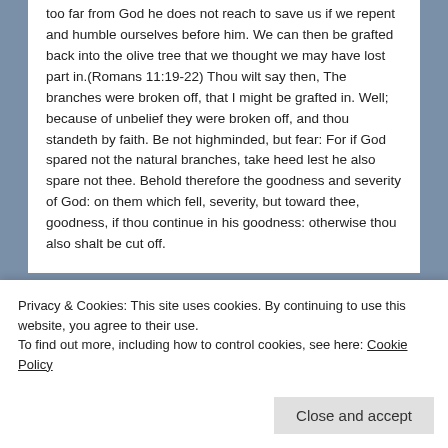too far from God he does not reach to save us if we repent and humble ourselves before him. We can then be grafted back into the olive tree that we thought we may have lost part in.(Romans 11:19-22) Thou wilt say then, The branches were broken off, that I might be grafted in. Well; because of unbelief they were broken off, and thou standeth by faith. Be not highminded, but fear: For if God spared not the natural branches, take heed lest he also spare not thee. Behold therefore the goodness and severity of God: on them which fell, severity, but toward thee, goodness, if thou continue in his goodness: otherwise thou also shalt be cut off.
[Figure (other): Green banner with white button labeled 'Back up your site']
Privacy & Cookies: This site uses cookies. By continuing to use this website, you agree to their use.
To find out more, including how to control cookies, see here: Cookie Policy
Close and accept